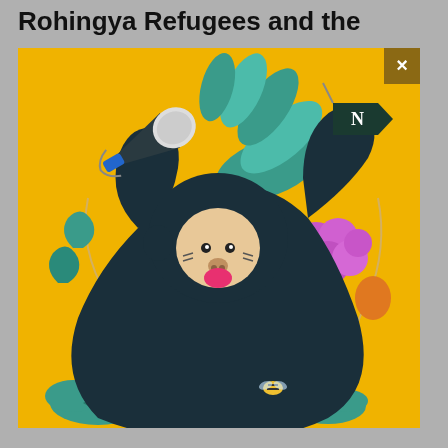Rohingya Refugees and the
[Figure (illustration): Colorful illustration on a golden-yellow background showing a stylized dark-colored monkey/bear-like character holding a megaphone in one raised hand and a flag with the letter 'N' in the other. The character has a beige face with a pink mouth, small eyes, and stitch marks on the cheeks. It is surrounded by decorative elements including teal fan-shaped leaves, magenta/purple floral puffs, teal cloud shapes at the bottom, orange details, and a small bee near the bottom center. A close button (×) appears in the upper-right corner on a golden-brown background.]